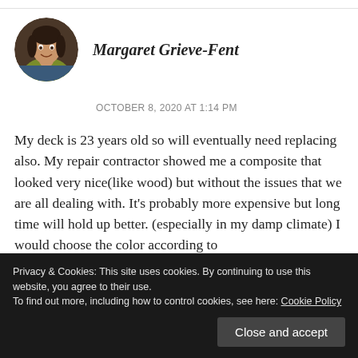[Figure (photo): Circular avatar photo of Margaret Grieve-Fent, a person with short dark hair, smiling, wearing a yellow-green jacket]
Margaret Grieve-Fent
OCTOBER 8, 2020 AT 1:14 PM
My deck is 23 years old so will eventually need replacing also. My repair contractor showed me a composite that looked very nice(like wood) but without the issues that we are all dealing with. It’s probably more expensive but long time will hold up better. (especially in my damp climate) I would choose the color according to
Privacy & Cookies: This site uses cookies. By continuing to use this website, you agree to their use.
To find out more, including how to control cookies, see here: Cookie Policy
Close and accept